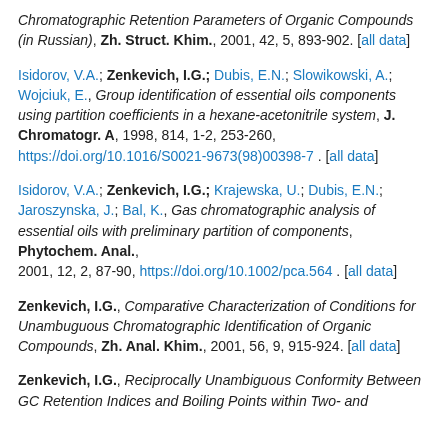Chromatographic Retention Parameters of Organic Compounds (in Russian), Zh. Struct. Khim., 2001, 42, 5, 893-902. [all data]
Isidorov, V.A.; Zenkevich, I.G.; Dubis, E.N.; Slowikowski, A.; Wojciuk, E., Group identification of essential oils components using partition coefficients in a hexane-acetonitrile system, J. Chromatogr. A, 1998, 814, 1-2, 253-260, https://doi.org/10.1016/S0021-9673(98)00398-7 . [all data]
Isidorov, V.A.; Zenkevich, I.G.; Krajewska, U.; Dubis, E.N.; Jaroszynska, J.; Bal, K., Gas chromatographic analysis of essential oils with preliminary partition of components, Phytochem. Anal., 2001, 12, 2, 87-90, https://doi.org/10.1002/pca.564 . [all data]
Zenkevich, I.G., Comparative Characterization of Conditions for Unambuguous Chromatographic Identification of Organic Compounds, Zh. Anal. Khim., 2001, 56, 9, 915-924. [all data]
Zenkevich, I.G., Reciprocally Unambiguous Conformity Between GC Retention Indices and Boiling Points within Two- and